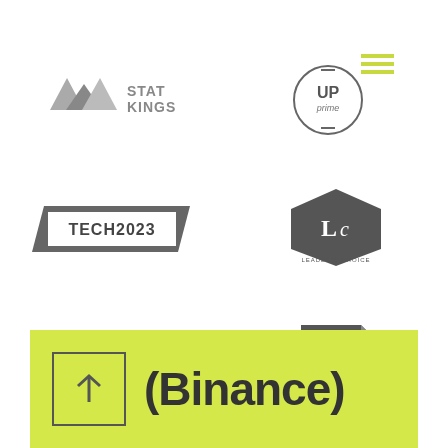[Figure (logo): STAT KINGS logo with crown icon made of triangular shapes in gray]
[Figure (logo): UP prime logo with circle border and yellow accent lines, text 'UP prime' inside circle]
[Figure (logo): TECH2023 logo in bold blocky font inside a dark parallelogram badge shape]
[Figure (logo): LEADER'S CHOICE logo with hexagon/shield shape containing 'Lc' monogram]
[Figure (logo): INFODATA logo with bar chart icon above text in gray]
[Figure (logo): INFO FO logo on dark pentagon/document shape]
[Figure (logo): Binance logo banner on yellow-green background with up arrow in box and text '(Binance)']